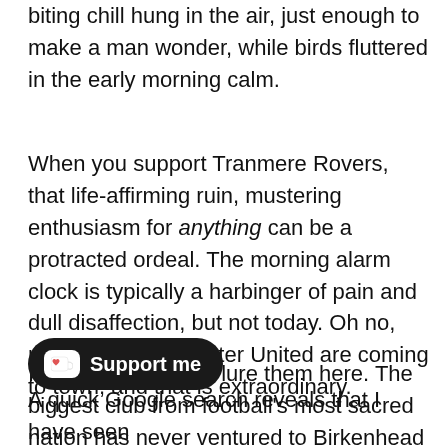biting chill hung in the air, just enough to make a man wonder, while birds fluttered in the early morning calm.
When you support Tranmere Rovers, that life-affirming ruin, mustering enthusiasm for anything can be a protracted ordeal. The morning alarm clock is typically a harbinger of pain and dull disaffection, but not today. Oh no, not today. Manchester United are coming to town, and that is extraordinary.
It took 136 years to lure them here. The biggest club from football's most sacred nation has never ventured to Birkenhead for a competitive senior fixture. In a few hours, that will change, as the pampered stars drag their gargantuan egos into Borough Road.
A quick Google search reveals that I have seen